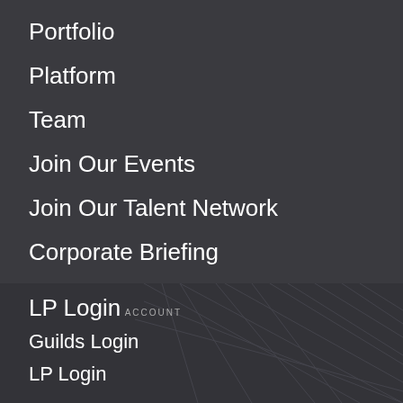Portfolio
Platform
Team
Join Our Events
Join Our Talent Network
Corporate Briefing
LP Login
ACCOUNT
Guilds Login
LP Login